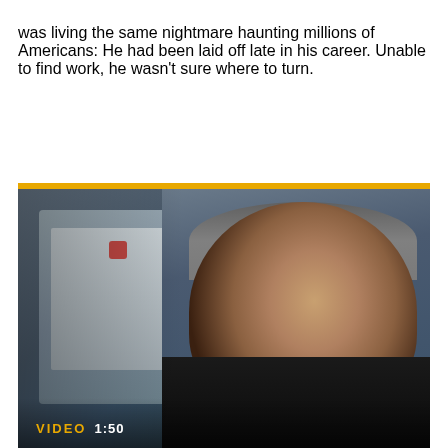was living the same nightmare haunting millions of Americans: He had been laid off late in his career. Unable to find work, he wasn't sure where to turn.
[Figure (photo): A middle-aged man with gray hair wearing a black shirt, smiling at the camera. Office background with blue walls and papers. Video player with yellow 'VIDEO 1:50' label at the bottom left.]